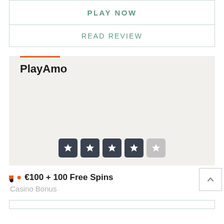PLAY NOW
READ REVIEW
PlayAmo
[Figure (other): 4 dark star rating boxes and 1 light grey star rating box, showing 4 out of 5 stars rating]
€100 + 100 Free Spins
Casino Bonus